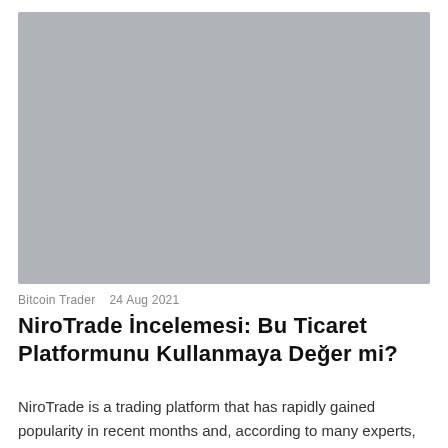[Figure (photo): Gray placeholder image for NiroTrade article header]
Bitcoin Trader   24 Aug 2021
NiroTrade İncelemesi: Bu Ticaret Platformunu Kullanmaya Değer mi?
NiroTrade is a trading platform that has rapidly gained popularity in recent months and, according to many experts, may seriously